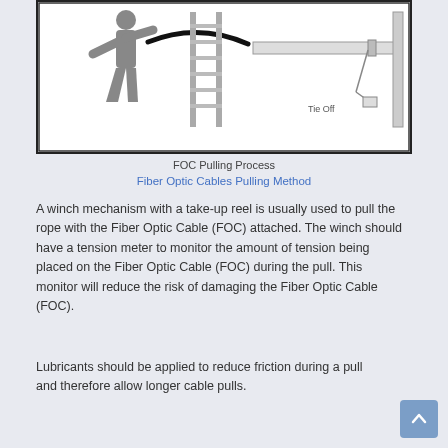[Figure (illustration): A diagram showing a person pulling a fiber optic cable using a rope through a conduit, with a ladder nearby and a 'Tie Off' label on the right side where the cable is secured.]
FOC Pulling Process
Fiber Optic Cables Pulling Method
A winch mechanism with a take-up reel is usually used to pull the rope with the Fiber Optic Cable (FOC) attached. The winch should have a tension meter to monitor the amount of tension being placed on the Fiber Optic Cable (FOC) during the pull. This monitor will reduce the risk of damaging the Fiber Optic Cable (FOC).
Lubricants should be applied to reduce friction during a pull and therefore allow longer cable pulls.